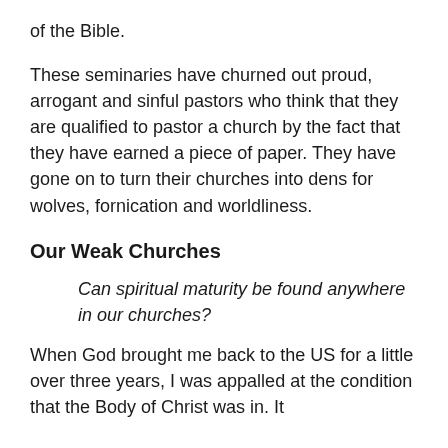of the Bible.
These seminaries have churned out proud, arrogant and sinful pastors who think that they are qualified to pastor a church by the fact that they have earned a piece of paper. They have gone on to turn their churches into dens for wolves, fornication and worldliness.
Our Weak Churches
Can spiritual maturity be found anywhere in our churches?
When God brought me back to the US for a little over three years, I was appalled at the condition that the Body of Christ was in. It